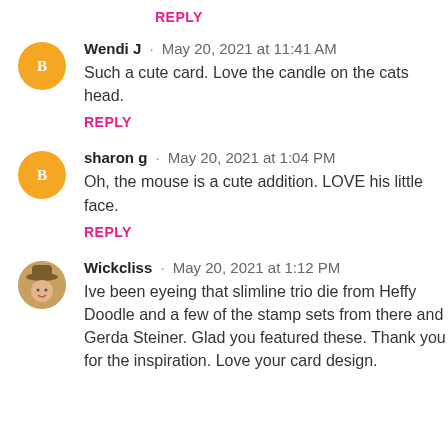REPLY
Wendi J · May 20, 2021 at 11:41 AM
Such a cute card. Love the candle on the cats head.
REPLY
sharon g · May 20, 2021 at 1:04 PM
Oh, the mouse is a cute addition. LOVE his little face.
REPLY
Wickcliss · May 20, 2021 at 1:12 PM
Ive been eyeing that slimline trio die from Heffy Doodle and a few of the stamp sets from there and Gerda Steiner. Glad you featured these. Thank you for the inspiration. Love your card design.